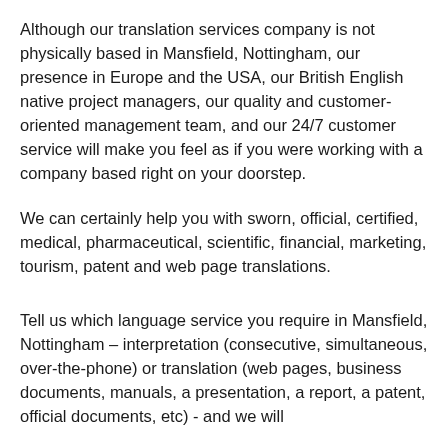Although our translation services company is not physically based in Mansfield, Nottingham, our presence in Europe and the USA, our British English native project managers, our quality and customer-oriented management team, and our 24/7 customer service will make you feel as if you were working with a company based right on your doorstep.
We can certainly help you with sworn, official, certified, medical, pharmaceutical, scientific, financial, marketing, tourism, patent and web page translations.
Tell us which language service you require in Mansfield, Nottingham – interpretation (consecutive, simultaneous, over-the-phone) or translation (web pages, business documents, manuals, a presentation, a report, a patent, official documents, etc) - and we will